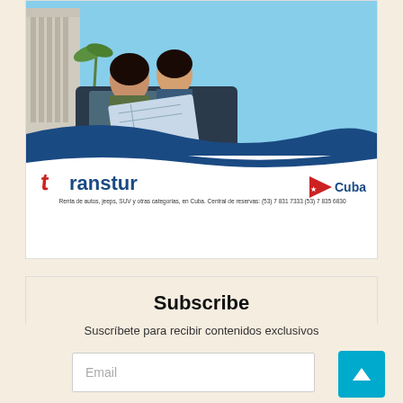[Figure (advertisement): Transtur Cuba car rental advertisement. Two young women looking at a map near a car, with a classical building in the background. Blue wave design with Transtur logo and Cuba flag badge. Text: Renta de autos, jeeps, SUV y otras categorias, en Cuba. Central de reservas: (53) 7 831 7333  (53) 7 835 6830 E-mail: cubacar@transtur.cu  reservas@rex.cu  #TransturCuba]
Subscribe
Suscríbete para recibir contenidos exclusivos
Email